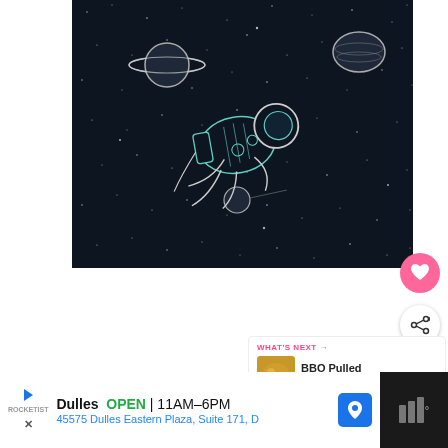[Figure (illustration): Digital illustration of an astronaut floating weightlessly in outer space on a dark navy background. The astronaut is drawn in teal/white line art style, drifting horizontally. Surrounding the astronaut are Saturn (with rings, upper-left), a planet (upper-right), and a smaller comet/planet (lower-center-left). Stars are scattered throughout the dark background.]
[Figure (other): Pink circular heart/like button with a white heart icon]
[Figure (other): White circular share button with share icon]
WHAT'S NEXT →
BBQ Pulled Chicken...
Dulles  OPEN | 11AM–6PM
45575 Dulles Eastern Plaza, Suite 171, D